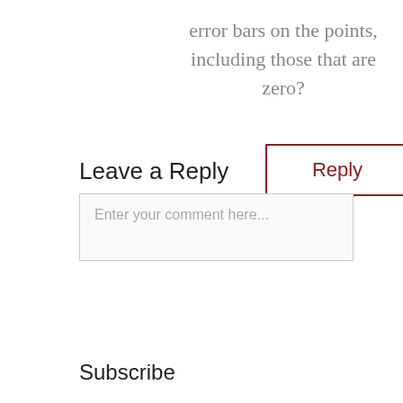error bars on the points, including those that are zero?
Reply
Leave a Reply
Enter your comment here...
Subscribe